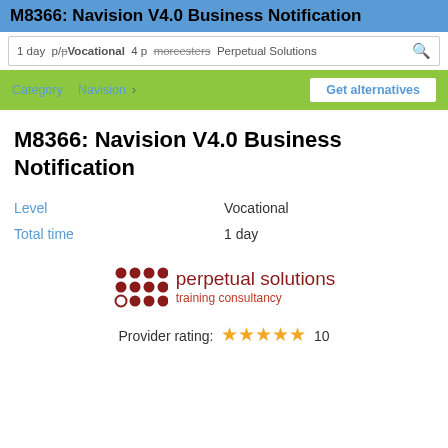M8366: Navision V4.0 Business Notification
1 day  Vocational  4 p  Perpetual Solutions
Category  Navision  Get alternatives
M8366: Navision V4.0 Business Notification
|  |  |
| --- | --- |
| Level | Vocational |
| Total time | 1 day |
[Figure (logo): Perpetual Solutions training consultancy logo with dot grid pattern]
Provider rating: ★★★★★ 10